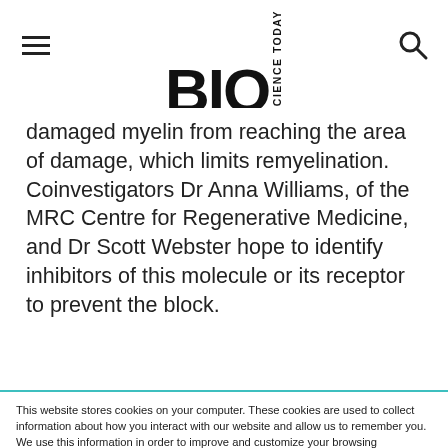BIO SCIENCE TODAY
damaged myelin from reaching the area of damage, which limits remyelination. Coinvestigators Dr Anna Williams, of the MRC Centre for Regenerative Medicine, and Dr Scott Webster hope to identify inhibitors of this molecule or its receptor to prevent the block.
This website stores cookies on your computer. These cookies are used to collect information about how you interact with our website and allow us to remember you. We use this information in order to improve and customize your browsing experience and for analytics and metrics about our visitors both on this website and other media. To find out more about the cookies we use, see our Privacy Policy.
If you decline, your information won’t be tracked when you visit this website. A single cookie will be used in your browser to remember your preference not to be tracked.